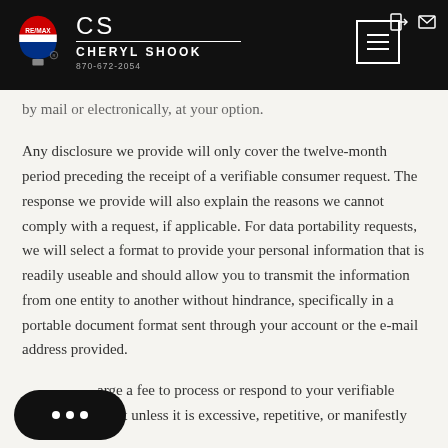RE/MAX - CS CHERYL SHOOK 870-672-2054
by mail or electronically, at your option.
Any disclosure we provide will only cover the twelve-month period preceding the receipt of a verifiable consumer request. The response we provide will also explain the reasons we cannot comply with a request, if applicable. For data portability requests, we will select a format to provide your personal information that is readily useable and should allow you to transmit the information from one entity to another without hindrance, specifically in a portable document format sent through your account or the e-mail address provided.
…arge a fee to process or respond to your verifiable consumer request unless it is excessive, repetitive, or manifestly